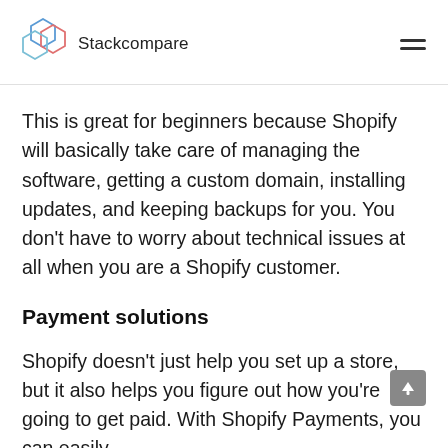Stackcompare
This is great for beginners because Shopify will basically take care of managing the software, getting a custom domain, installing updates, and keeping backups for you. You don’t have to worry about technical issues at all when you are a Shopify customer.
Payment solutions
Shopify doesn’t just help you set up a store, but it also helps you figure out how you’re going to get paid. With Shopify Payments, you can easily